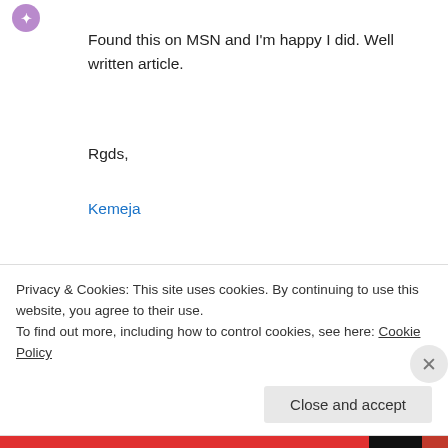[Figure (logo): Small purple decorative avatar icon top left]
Found this on MSN and I'm happy I did. Well written article.
Rgds,
Kemeja
↵ Reply
[Figure (logo): Red decorative grid/cross avatar icon for digitaldtour]
digitaldtour on June 13, 2013 at 9:40 PM
Privacy & Cookies: This site uses cookies. By continuing to use this website, you agree to their use.
To find out more, including how to control cookies, see here: Cookie Policy
Close and accept